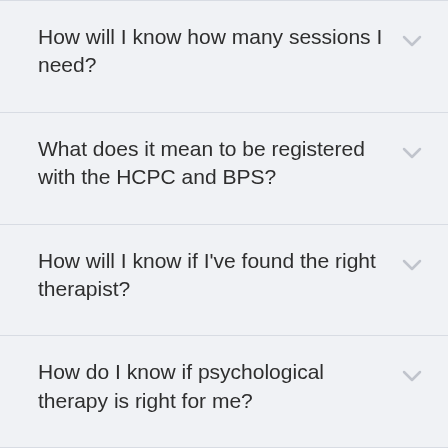How will I know how many sessions I need?
What does it mean to be registered with the HCPC and BPS?
How will I know if I've found the right therapist?
How do I know if psychological therapy is right for me?